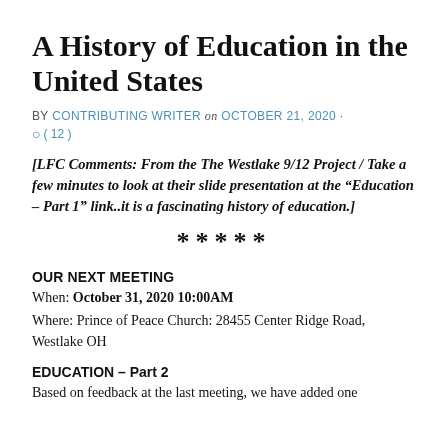A History of Education in the United States
BY CONTRIBUTING WRITER on OCTOBER 21, 2020 · ◯ ( 12 )
[LFC Comments: From the The Westlake 9/12 Project / Take a few minutes to look at their slide presentation at the "Education – Part 1" link..it is a fascinating history of education.]
*****
OUR NEXT MEETING
When: October 31, 2020 10:00AM
Where: Prince of Peace Church: 28455 Center Ridge Road, Westlake OH
EDUCATION – Part 2
Based on feedback at the last meeting, we have added one